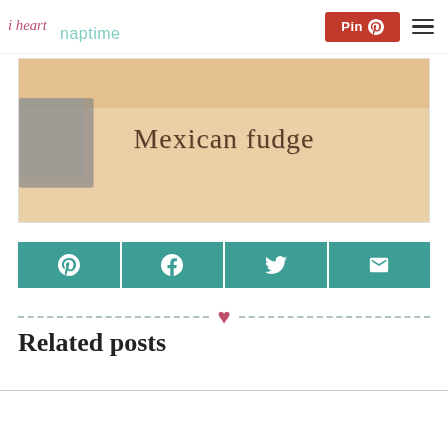i heart naptime — Pin
[Figure (photo): Photo of Mexican fudge with text overlay 'Mexican fudge' on a warm beige background]
[Figure (infographic): Social share buttons: Pinterest, Facebook, Twitter, Email — all teal colored]
[Figure (other): Decorative dashed divider with pink heart in the center]
Related posts